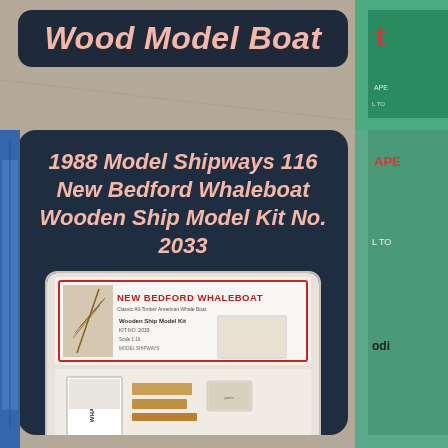Wood Model Boat
1988 Model Shipways 116 New Bedford Whaleboat Wooden Ship Model Kit No. 2033
[Figure (photo): Photo of a 1988 Model Shipways New Bedford Whaleboat wooden ship model kit No. 2033 opened box showing the model boat components, instruction manual, and packaging with eBay watermark]